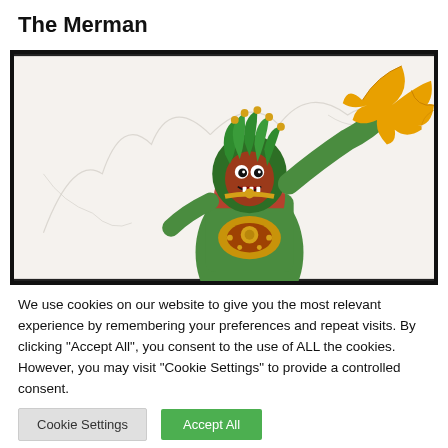The Merman
[Figure (illustration): Colored illustration of a Merman character — a creature with a green muscular body, ornate gold and red decorative breastplate, a fierce red and green face with fangs, green leafy head ornaments, and a large yellow webbed hand raised. Background is off-white with faint sketched cave-like shapes. Image is framed with a thick dark border.]
We use cookies on our website to give you the most relevant experience by remembering your preferences and repeat visits. By clicking "Accept All", you consent to the use of ALL the cookies. However, you may visit "Cookie Settings" to provide a controlled consent.
Cookie Settings
Accept All